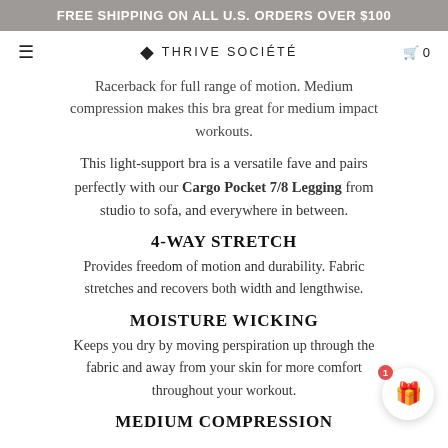FREE SHIPPING ON ALL U.S. ORDERS OVER $100
THRIVE SOCIÉTÉ  0
Racerback for full range of motion. Medium compression makes this bra great for medium impact workouts.
This light-support bra is a versatile fave and pairs perfectly with our Cargo Pocket 7/8 Legging from studio to sofa, and everywhere in between.
4-WAY STRETCH
Provides freedom of motion and durability. Fabric stretches and recovers both width and lengthwise.
MOISTURE WICKING
Keeps you dry by moving perspiration up through the fabric and away from your skin for more comfort throughout your workout.
MEDIUM COMPRESSION